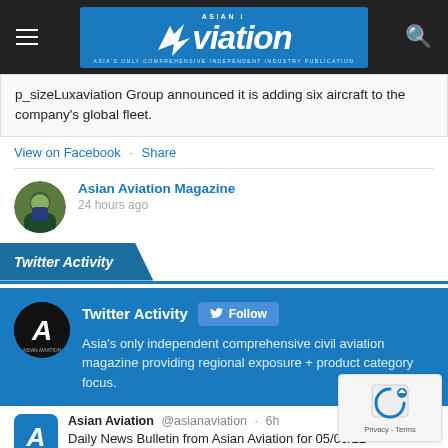Asian Aviation Magazine header with navigation
p_sizeLuxaviation Group announced it is adding six aircraft to the company's global fleet.
View on Facebook · Share
Asian Aviation Magazine
24 hours ago
Twitter Activity
[Figure (screenshot): Twitter Activity widget showing Asian Aviation account with Follow button and description: Asia's only independent comprehensive civil aviation magazine providing regional exposure + product category focus.]
Asian Aviation @asianaviation · 6h
Daily News Bulletin from Asian Aviation for 05/09/22 -